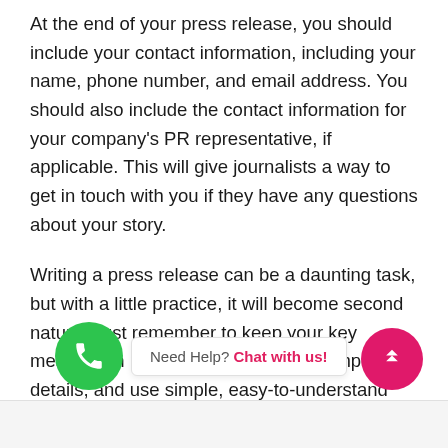At the end of your press release, you should include your contact information, including your name, phone number, and email address. You should also include the contact information for your company's PR representative, if applicable. This will give journalists a way to get in touch with you if they have any questions about your story.
Writing a press release can be a daunting task, but with a little practice, it will become second nature. Just remember to keep your key message in mind, focus on the most important details, and use simple, easy-to-understand language. If you do all of those things, you'll be well on your way to writing a great press release.